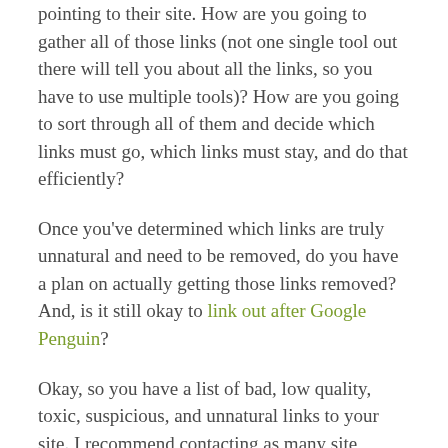pointing to their site. How are you going to gather all of those links (not one single tool out there will tell you about all the links, so you have to use multiple tools)? How are you going to sort through all of them and decide which links must go, which links must stay, and do that efficiently?
Once you've determined which links are truly unnatural and need to be removed, do you have a plan on actually getting those links removed? And, is it still okay to link out after Google Penguin?
Okay, so you have a list of bad, low quality, toxic, suspicious, and unnatural links to your site. I recommend contacting as many site owners as you can to get those links removed. Then, go ahead and prepare a disavow file (do you know how to properly do that?) and submit it to Google using